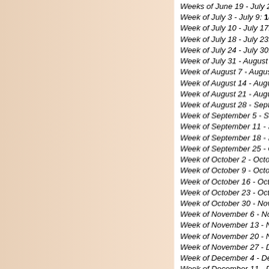Weeks of June 19 - July 2: 144,075 - 144,328 (253) - c...
Week of July 3 - July 9: 144,328 - 144,533 (205)
Week of July 10 - July 17: 144,533 - 144,656 (123)
Week of July 18 - July 23: 144,656 - 144,847 (191)
Week of July 24 - July 30: 144,847 - 145,003 (156)
Week of July 31 - August 6: 145,003 - 145,191 (188)
Week of August 7 - August 13: 145,191 - 145,372 (181)...
Week of August 14 - August 20: 145,372 - 145,556 (184...
Week of August 21 - August 27: 145,556 - 145,702 (146...
Week of August 28 - September 4: 145,702 - 145,878 (...
Week of September 5 - September 10: 145,878 - 146,0...
Week of September 11 - September 17: 146,071 - 146,...
Week of September 18 - September 24: 146,264 - 146,...
Week of September 25 - October 1: 146,438 - 146,608
Week of October 2 - October 8: 146,608 - 146,722 (114...
Week of October 9 - October 15: 146,722 - 146,855 (13...
Week of October 16 - October 22: 146,855 - 146,990 (1...
Week of October 23 - October 29: 146,990 - 147,080 (9...
Week of October 30 - November 5: 147,080 - 147,193 (...
Week of November 6 - November 12: 147,193 - 147,32...
Week of November 13 - November 19: 147,320 - 147,4...
Week of November 20 - November 26: 147,407 - 147,5...
Week of November 27 - December 3: 147,532 - 147,60...
Week of December 4 - December 10: 147,604 - 147,72...
Week of December 11 - December 17: 147,728 - 147,8...
Week of December 18 - December 24: 147,857 - 148,0...
Week of December 25 - December 31: 148,018 - 148,1...
Monthly Count:
January 2017: 139. (827 | 26.68)
February 2017: 101. (858 | 31.04)